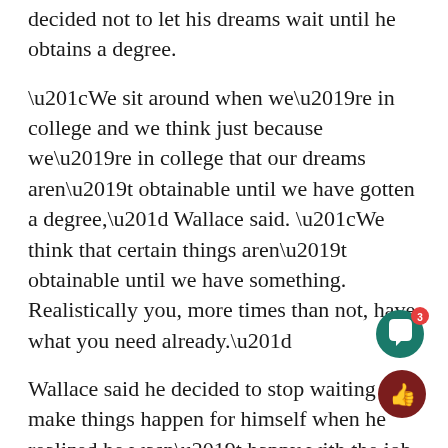decided not to let his dreams wait until he obtains a degree.
“We sit around when we’re in college and we think just because we’re in college that our dreams aren’t obtainable until we have gotten a degree,” Wallace said. “We think that certain things aren’t obtainable until we have something. Realistically you, more times than not, have what you need already.”
Wallace said he decided to stop waiting to make things happen for himself when he realized he wasn’t happy with the job he was working.
“Why wait?” Wallace said. “That’s the question I ask myself. The more that you do today, the less that you have to wait. I just knew that my life had more meaning, and I knew that my